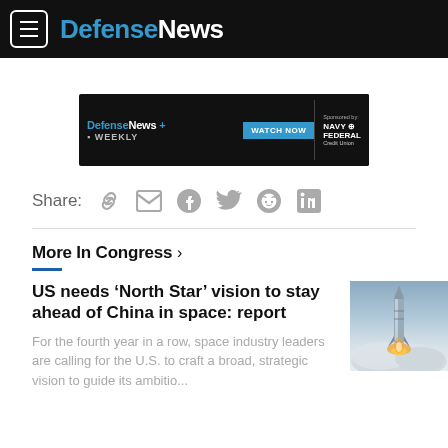DefenseNews
[Figure (screenshot): DefenseNews Weekly advertisement banner with WATCH NOW button, sponsored by Navy Federal Credit Union]
Share:
More In Congress >
US needs ‘North Star’ vision to stay ahead of China in space: report
For the fourth year in a row, space industry leaders are calling for the U.S. to craft a broad, strategic vision to guide its ambitio...
[Figure (photo): Rocket launch with smoke and flames, daytime sky]